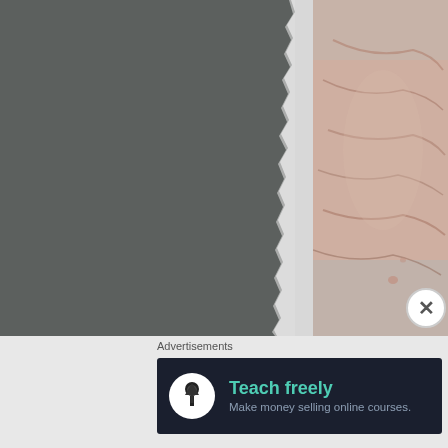[Figure (photo): Left: dark gray clay or material slab with torn/ragged right edge against light gray background. Right: close-up photo of flesh-colored tissue (possibly biological specimen) wrapped in plastic/foil, showing wrinkles and folds, with a circular close button overlay at bottom right.]
Advertisements
[Figure (infographic): Advertisement banner with dark navy background showing a white circle icon with a tree/person symbol, bold teal text 'Teach freely', and gray subtitle text 'Make money selling online courses.']